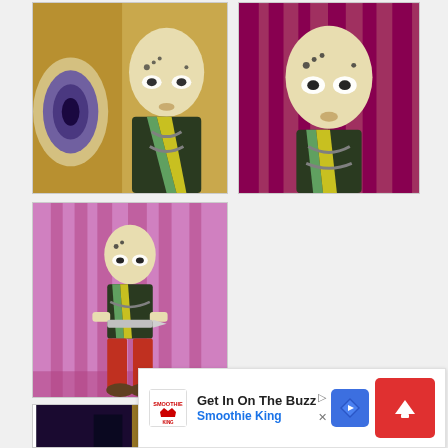[Figure (screenshot): Anime screenshot showing a bald character with face markings and a larger eye/face in background, pink/dark background]
[Figure (screenshot): Anime screenshot showing bald character with face markings against pink/red curtain background, close-up]
[Figure (screenshot): Anime screenshot showing bald character full body with red pants holding something, standing in front of pink curtain]
[Figure (screenshot): Anime screenshot partially visible, dark tones]
[Figure (screenshot): Anime screenshot partially visible, light blue tones]
[Figure (screenshot): Advertisement banner for Smoothie King — Get In On The Buzz]